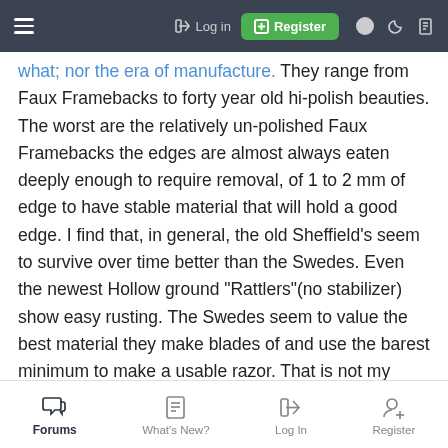Navigation bar with hamburger menu, Log in, Register, and icons
what; nor the era of manufacture. They range from Faux Framebacks to forty year old hi-polish beauties. The worst are the relatively un-polished Faux Framebacks the edges are almost always eaten deeply enough to require removal, of 1 to 2 mm of edge to have stable material that will hold a good edge. I find that, in general, the old Sheffield's seem to survive over time better than the Swedes. Even the newest Hollow ground "Rattlers"(no stabilizer) show easy rusting. The Swedes seem to value the best material they make blades of and use the barest minimum to make a usable razor. That is not my complaint, they, when in good condition are definitely a class act. Respectfully
Forums | What's New? | Log In | Register